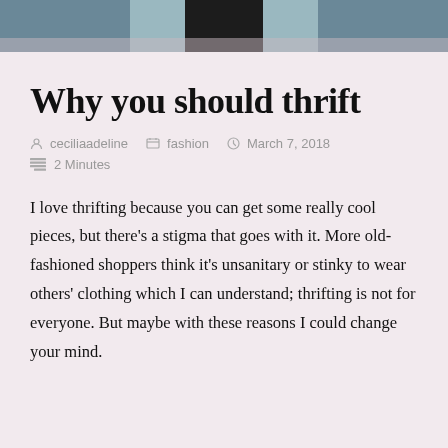[Figure (photo): Top strip showing a partial photo of a person standing, wearing teal/blue top, with dark background]
Why you should thrift
ceciliaadeline   fashion   March 7, 2018
2 Minutes
I love thrifting because you can get some really cool pieces, but there's a stigma that goes with it. More old-fashioned shoppers think it's unsanitary or stinky to wear others' clothing which I can understand; thrifting is not for everyone. But maybe with these reasons I could change your mind.